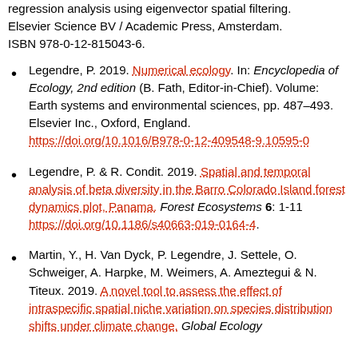regression analysis using eigenvector spatial filtering. Elsevier Science BV / Academic Press, Amsterdam. ISBN 978-0-12-815043-6.
Legendre, P. 2019. Numerical ecology. In: Encyclopedia of Ecology, 2nd edition (B. Fath, Editor-in-Chief). Volume: Earth systems and environmental sciences, pp. 487–493. Elsevier Inc., Oxford, England. https://doi.org/10.1016/B978-0-12-409548-9.10595-0
Legendre, P. & R. Condit. 2019. Spatial and temporal analysis of beta diversity in the Barro Colorado Island forest dynamics plot, Panama. Forest Ecosystems 6: 1-11 https://doi.org/10.1186/s40663-019-0164-4.
Martin, Y., H. Van Dyck, P. Legendre, J. Settele, O. Schweiger, A. Harpke, M. Weimers, A. Ameztegui & N. Titeux. 2019. A novel tool to assess the effect of intraspecific spatial niche variation on species distribution shifts under climate change. Global Ecology